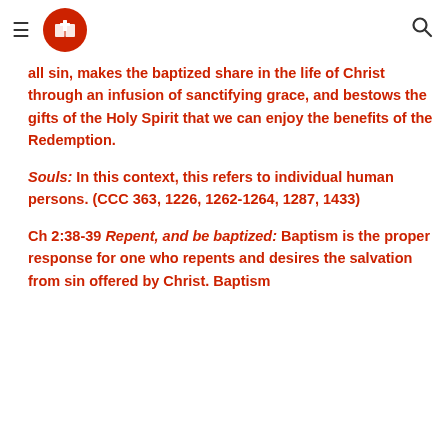Navigation header with menu icon, Bible logo, and search icon
all sin, makes the baptized share in the life of Christ through an infusion of sanctifying grace, and bestows the gifts of the Holy Spirit that we can enjoy the benefits of the Redemption.
Souls: In this context, this refers to individual human persons. (CCC 363, 1226, 1262-1264, 1287, 1433)
Ch 2:38-39 Repent, and be baptized: Baptism is the proper response for one who repents and desires the salvation from sin offered by Christ. Baptism